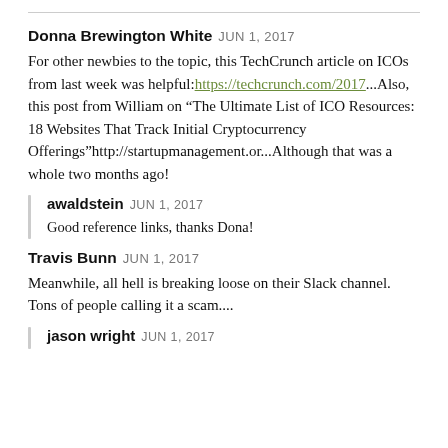Donna Brewington White JUN 1, 2017
For other newbies to the topic, this TechCrunch article on ICOs from last week was helpful:https://techcrunch.com/2017...Also, this post from William on “The Ultimate List of ICO Resources: 18 Websites That Track Initial Cryptocurrency Offerings”http://startupmanagement.or...Although that was a whole two months ago!
awaldstein JUN 1, 2017
Good reference links, thanks Dona!
Travis Bunn JUN 1, 2017
Meanwhile, all hell is breaking loose on their Slack channel. Tons of people calling it a scam....
jason wright JUN 1, 2017